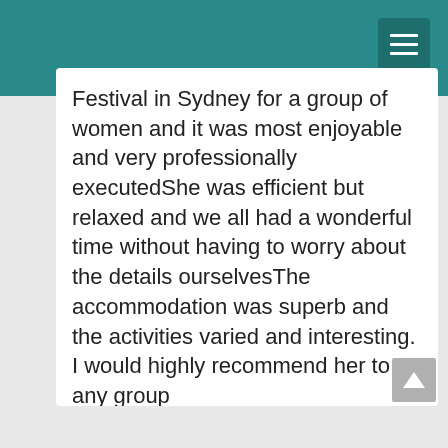Festival in Sydney for a group of women and it was most enjoyable and very professionally executedShe was efficient but relaxed and we all had a wonderful time without having to worry about the details ourselvesThe accommodation was superb and the activities varied and interesting. I would highly recommend her to any group
Submitted by Jan Hearne on 12/06/2022